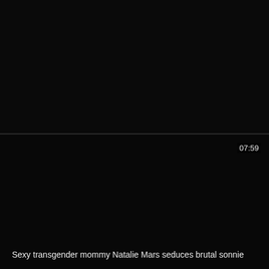[Figure (screenshot): Dark/black video thumbnail for first video card]
mistress francine pantyhose
Mature Shemale >   HD Videos >
[Figure (screenshot): Dark/black video thumbnail for second video card with duration 07:59]
07:59
Sexy transgender mommy Natalie Mars seduces brutal sonnie